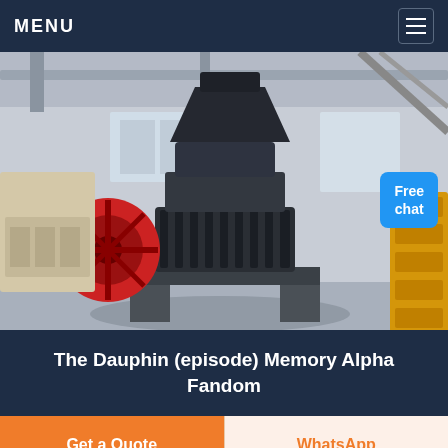MENU
[Figure (photo): Industrial cone crusher machine displayed in a factory/warehouse setting. The machine is large and dark-colored with a prominent red flywheel on the left side. Yellow spiral components are visible on the right. A 'Free chat' badge with a customer service representative icon is overlaid in the upper-right area of the image.]
The Dauphin (episode) Memory Alpha Fandom
Get a Quote
WhatsApp